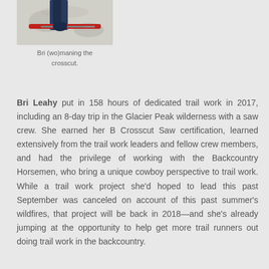[Figure (photo): A person using a red crosscut saw outdoors on rocky/snowy terrain, viewed from above]
Bri (wo)maning the crosscut.
Bri Leahy put in 158 hours of dedicated trail work in 2017, including an 8-day trip in the Glacier Peak wilderness with a saw crew. She earned her B Crosscut Saw certification, learned extensively from the trail work leaders and fellow crew members, and had the privilege of working with the Backcountry Horsemen, who bring a unique cowboy perspective to trail work. While a trail work project she'd hoped to lead this past September was canceled on account of this past summer's wildfires, that project will be back in 2018—and she's already jumping at the opportunity to help get more trail runners out doing trail work in the backcountry.